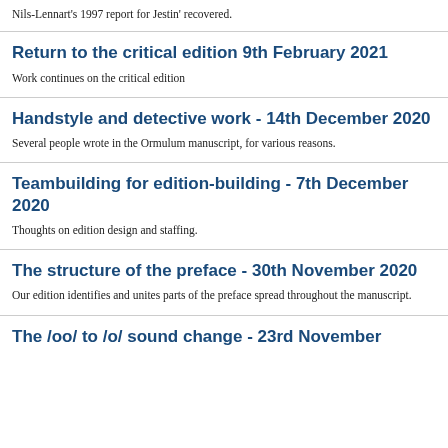Nils-Lennart's 1997 report for Jestin' recovered.
Return to the critical edition 9th February 2021
Work continues on the critical edition
Handstyle and detective work - 14th December 2020
Several people wrote in the Ormulum manuscript, for various reasons.
Teambuilding for edition-building - 7th December 2020
Thoughts on edition design and staffing.
The structure of the preface - 30th November 2020
Our edition identifies and unites parts of the preface spread throughout the manuscript.
The /oo/ to /o/ sound change - 23rd November